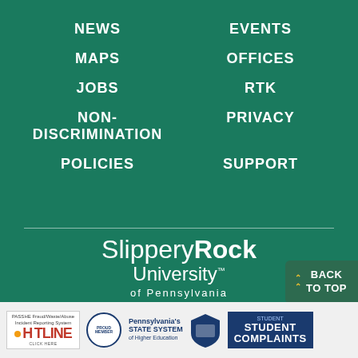NEWS
EVENTS
MAPS
OFFICES
JOBS
RTK
NON-DISCRIMINATION
PRIVACY
POLICIES
SUPPORT
[Figure (logo): Slippery Rock University of Pennsylvania logo in white text on dark green background]
© Slippery Rock University of Pennsylvania
1 Morrow Way, Slippery Rock, PA 16057, USA
800.778.9111
[Figure (infographic): Bottom bar with PASSHE Fraud/Waste/Abuse Hotline badge, Pennsylvania's State System of Higher Education Proud Member badge, a shield badge, and Student Complaints section]
BACK TO TOP